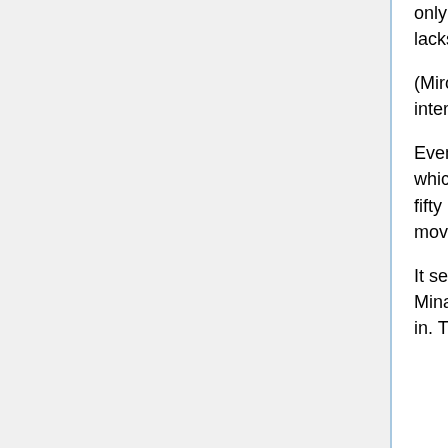only hers, and a lack of a partner cannot change the fact that Mikoto never lacks for a partner.
(Miroku likes hunting, too. This, of course, is not hunting, and so is less interesting.)
Even if she's not the fastest one in the pool, though, there's no sign of exertion which would explain it, no feeling of strain; Mikoto is confident, crossing those fifty metres. There's a rhythm to the strokes, the kicks, the occasional breath; moving in water is a particular challenge she has always enjoyed.
It seems the promise of an elusive prize isn't much of a motivator for Mikoto Minagi. Or, perhaps, she just hasn't noticed the efforts everyone else is putting in. They are a world away from